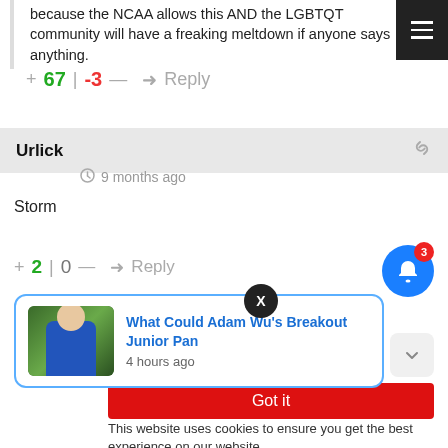because the NCAA allows this AND the LGBTQT community will have a freaking meltdown if anyone says anything.
+ 67 | -3 — → Reply
Urlick
9 months ago
Storm
+ 2 | 0 — → Reply
[Figure (screenshot): Notification card with article thumbnail and title 'What Could Adam Wu's Breakout Junior Pan', posted 4 hours ago]
Got it
This website uses cookies to ensure you get the best experience on our website.